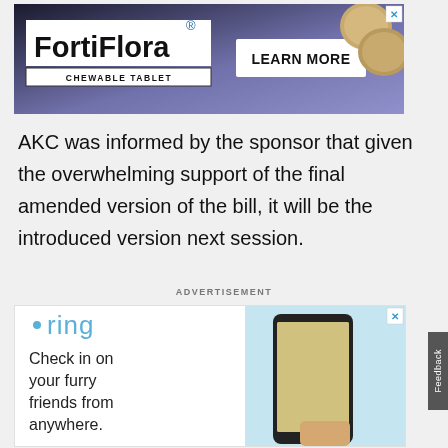[Figure (illustration): FortiFlora Chewable Tablet advertisement banner with dark blue/purple background, FortiFlora logo, 'LEARN MORE' button, and tablet images]
AKC was informed by the sponsor that given the overwhelming support of the final amended version of the bill, it will be the introduced version next session.
ADVERTISEMENT
[Figure (illustration): Ring advertisement showing ring logo, 'Check in on your furry friends from anywhere.' text, and a hand holding a smartphone showing a dog on Ring camera]